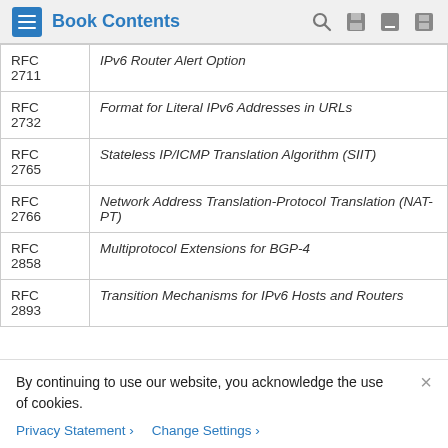Book Contents
| RFC | Title |
| --- | --- |
| RFC 2711 | IPv6 Router Alert Option |
| RFC 2732 | Format for Literal IPv6 Addresses in URLs |
| RFC 2765 | Stateless IP/ICMP Translation Algorithm (SIIT) |
| RFC 2766 | Network Address Translation-Protocol Translation (NAT-PT) |
| RFC 2858 | Multiprotocol Extensions for BGP-4 |
| RFC 2893 | Transition Mechanisms for IPv6 Hosts and Routers |
By continuing to use our website, you acknowledge the use of cookies.
Privacy Statement > Change Settings >